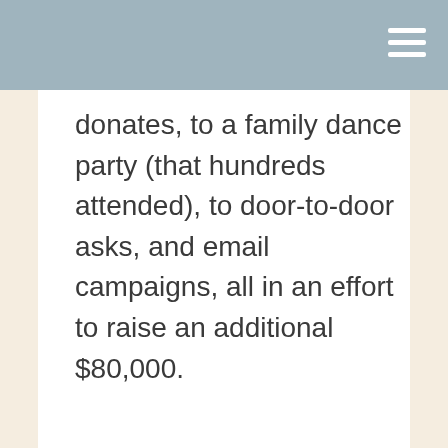donates, to a family dance party (that hundreds attended), to door-to-door asks, and email campaigns, all in an effort to raise an additional $80,000.